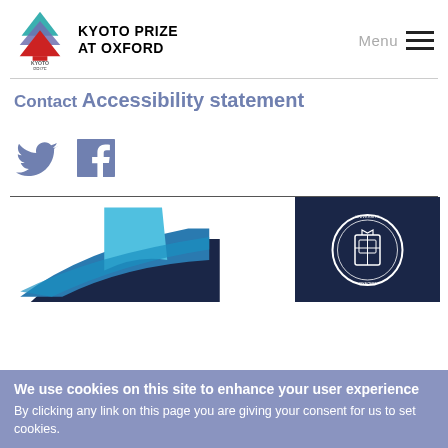KYOTO PRIZE AT OXFORD
Contact
Accessibility statement
[Figure (logo): Twitter and Facebook social media icons in muted blue-purple color]
[Figure (illustration): Kyoto Prize graphic with layered wave shapes in light blue and dark navy, alongside Oxford University crest on dark navy background]
We use cookies on this site to enhance your user experience
By clicking any link on this page you are giving your consent for us to set cookies.